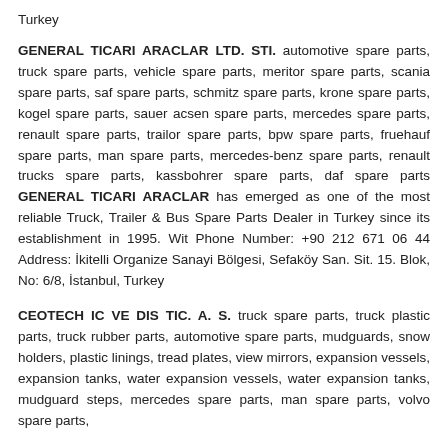Turkey
GENERAL TICARI ARACLAR LTD. STI. automotive spare parts, truck spare parts, vehicle spare parts, meritor spare parts, scania spare parts, saf spare parts, schmitz spare parts, krone spare parts, kogel spare parts, sauer acsen spare parts, mercedes spare parts, renault spare parts, trailor spare parts, bpw spare parts, fruehauf spare parts, man spare parts, mercedes-benz spare parts, renault trucks spare parts, kassbohrer spare parts, daf spare parts GENERAL TICARI ARACLAR has emerged as one of the most reliable Truck, Trailer & Bus Spare Parts Dealer in Turkey since its establishment in 1995. Wit Phone Number: +90 212 671 06 44 Address: İkitelli Organize Sanayi Bölgesi, Sefaköy San. Sit. 15. Blok, No: 6/8, İstanbul, Turkey
CEOTECH IC VE DIS TIC. A. S. truck spare parts, truck plastic parts, truck rubber parts, automotive spare parts, mudguards, snow holders, plastic linings, tread plates, view mirrors, expansion vessels, expansion tanks, water expansion vessels, water expansion tanks, mudguard steps, mercedes spare parts, man spare parts, volvo spare parts,